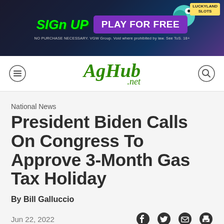[Figure (other): Advertisement banner: Sign Up / Play For Free / LuckyLand Slots with cartoon dinosaur]
AgHub .net
National News
President Biden Calls On Congress To Approve 3-Month Gas Tax Holiday
By Bill Galluccio
Jun 22, 2022